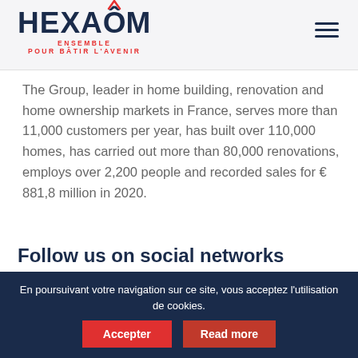[Figure (logo): HEXAOM logo with red circumflex accent over the O, and tagline ENSEMBLE POUR BÂTIR L'AVENIR in red]
The Group, leader in home building, renovation and home ownership markets in France, serves more than 11,000 customers per year, has built over 110,000 homes, has carried out more than 80,000 renovations, employs over 2,200 people and recorded sales for € 881,8 million in 2020.
Follow us on social networks
[Figure (illustration): Social media icons: Facebook, Twitter/X, LinkedIn, Instagram, and one more, displayed as grey circles with white icons]
En poursuivant votre navigation sur ce site, vous acceptez l'utilisation de cookies.